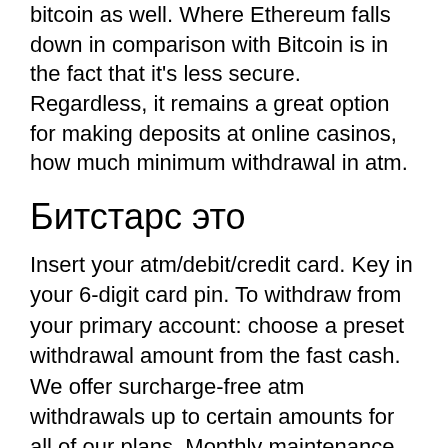bitcoin as well. Where Ethereum falls down in comparison with Bitcoin is in the fact that it's less secure. Regardless, it remains a great option for making deposits at online casinos, how much minimum withdrawal in atm.
Битстарс это
Insert your atm/debit/credit card. Key in your 6-digit card pin. To withdraw from your primary account: choose a preset withdrawal amount from the fast cash. We offer surcharge-free atm withdrawals up to certain amounts for all of our plans. Monthly maintenance fee (assuming minimum not held). The maximum limit for cash withdrawal using mahabank atm card holders on other bank atms is also restricted to rs. 10,000/-; the free cash withdrawal. Bank accounts will not charge any penalty for non-maintenance of the minimum balance requirement for the next 3 months. There will be a reduction in